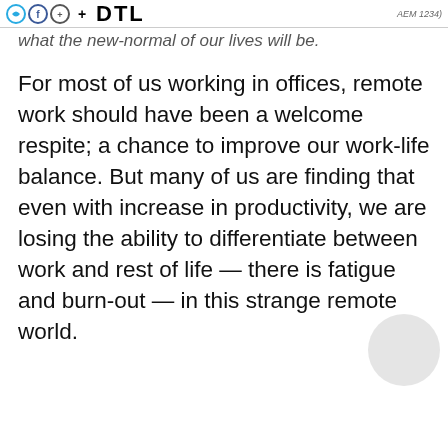DTL
what the new-normal of our lives will be.
For most of us working in offices, remote work should have been a welcome respite; a chance to improve our work-life balance. But many of us are finding that even with increase in productivity, we are losing the ability to differentiate between work and rest of life — there is fatigue and burn-out — in this strange remote world.